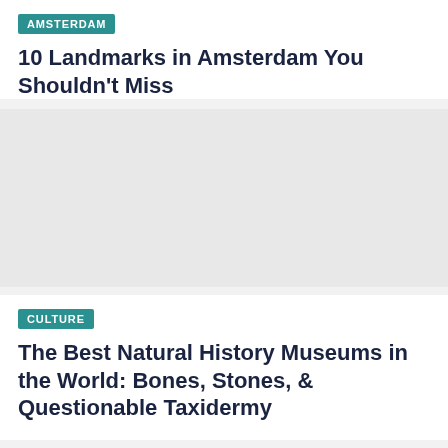AMSTERDAM
10 Landmarks in Amsterdam You Shouldn't Miss
[Figure (photo): Photo placeholder for Amsterdam landmarks article]
CULTURE
The Best Natural History Museums in the World: Bones, Stones, & Questionable Taxidermy